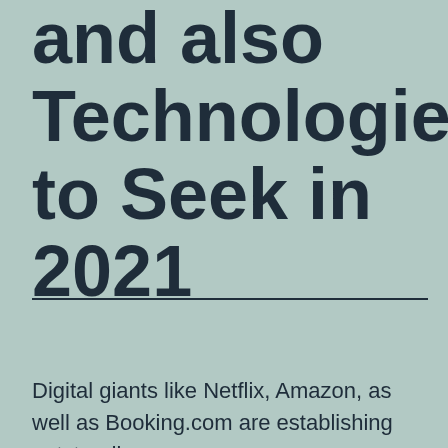and also Technologies to Seek in 2021
Digital giants like Netflix, Amazon, as well as Booking.com are establishing outstanding